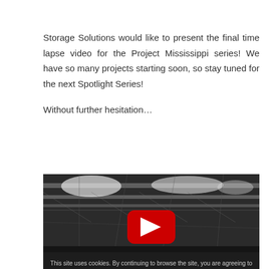Storage Solutions would like to present the final time lapse video for the Project Mississippi series! We have so many projects starting soon, so stay tuned for the next Spotlight Series!
Without further hesitation…
[Figure (screenshot): A video thumbnail showing the interior of a large warehouse with steel roof trusses and skylights, with a YouTube play button overlay and a cookie consent dialog overlay at the bottom.]